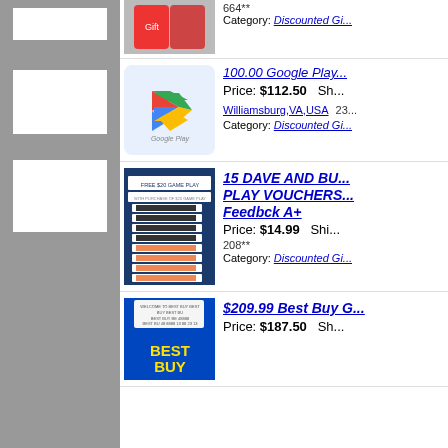[Figure (screenshot): Left sidebar with gray background and three white rectangle boxes]
664** | Category: Discounted Gi... (partial top listing)
100.00 Google Play... Price: $112.50 Shi... Williamsburg,VA,USA 23... Category: Discounted Gi...
15 DAVE AND BU... PLAY VOUCHERS... Feedbck A+ Price: $14.99 Ship... 208** Category: Discounted Gi...
$209.99 Best Buy G... Price: $187.50 Sh...